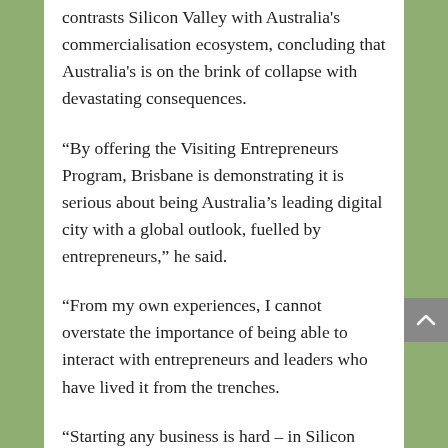contrasts Silicon Valley with Australia's commercialisation ecosystem, concluding that Australia's is on the brink of collapse with devastating consequences.
“By offering the Visiting Entrepreneurs Program, Brisbane is demonstrating it is serious about being Australia’s leading digital city with a global outlook, fuelled by entrepreneurs,” he said.
“From my own experiences, I cannot overstate the importance of being able to interact with entrepreneurs and leaders who have lived it from the trenches.
“Starting any business is hard – in Silicon Valley there is a robust support network for the entrepreneur made up of entrepreneur...